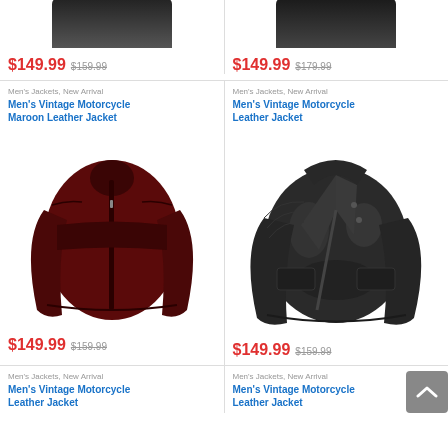[Figure (photo): Partial view of dark leather jacket (cropped at top)]
$149.99 $159.99
[Figure (photo): Partial view of dark leather jacket (cropped at top)]
$149.99 $179.99
Men's Jackets, New Arrival
Men's Vintage Motorcycle Maroon Leather Jacket
[Figure (photo): Maroon vintage motorcycle leather jacket product photo]
$149.99 $159.99
Men's Jackets, New Arrival
Men's Vintage Motorcycle Leather Jacket
[Figure (photo): Dark/black distressed vintage motorcycle leather jacket product photo]
$149.99 $159.99
Men's Jackets, New Arrival
Men's Vintage Motorcycle Leather Jacket
Men's Jackets, New Arrival
Men's Vintage Motorcycle Leather Jacket